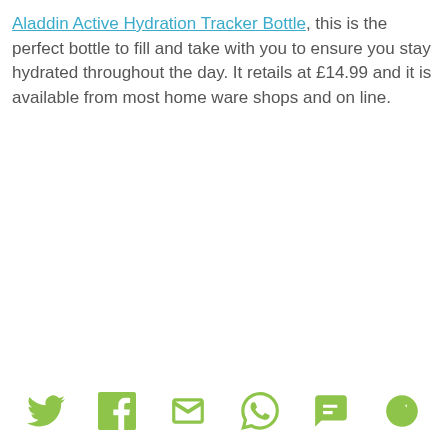Aladdin Active Hydration Tracker Bottle, this is the perfect bottle to fill and take with you to ensure you stay hydrated throughout the day. It retails at £14.99 and it is available from most home ware shops and on line.
[Figure (infographic): Social sharing icon bar with Twitter, Facebook, Email/envelope, WhatsApp, SMS, and a share/orbit icon — all in green]